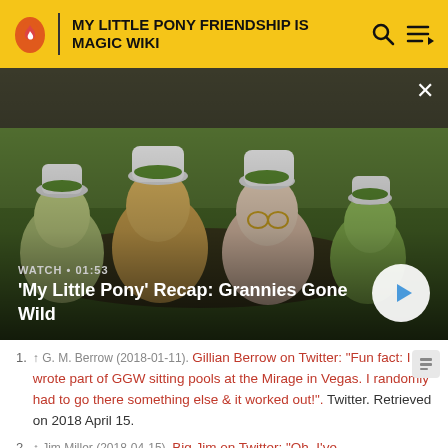MY LITTLE PONY FRIENDSHIP IS MAGIC WIKI
[Figure (screenshot): Animated scene from My Little Pony showing several pony characters wearing chef hats, with video overlay showing title 'My Little Pony' Recap: Grannies Gone Wild and WATCH • 01:53 label with a play button]
1. ↑ G. M. Berrow (2018-01-11). Gillian Berrow on Twitter: "Fun fact: I wrote part of GGW sitting poolside at the Mirage in Vegas. I randomly had to go there for something else & it worked out!". Twitter. Retrieved on 2018 April 15.
2. ↑ Jim Miller (2018-04-15). Big Jim on Twitter: "Oh, I've